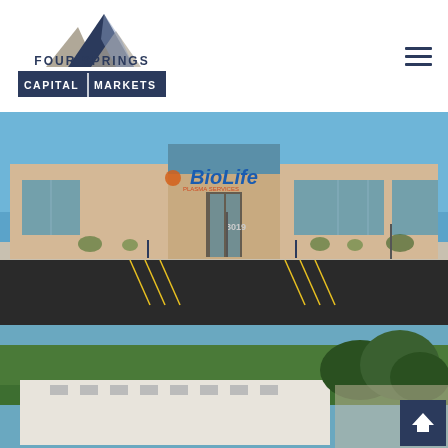[Figure (logo): Four Springs Capital Markets logo with mountain peak graphic above text]
[Figure (photo): Exterior photo of BioLife Plasma Services building at 8019, showing storefront with large windows, parking lot with accessible spaces, blue sky background]
[Figure (photo): Aerial photo of a commercial building surrounded by trees]